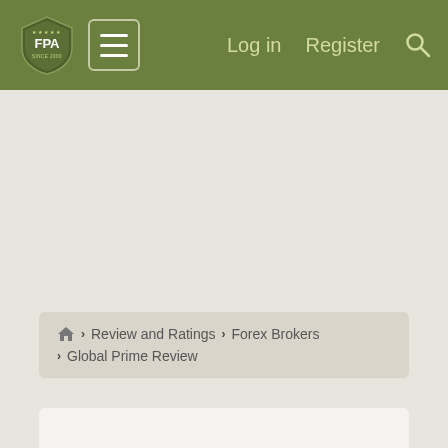FPA | Log in | Register | Search
Home › Review and Ratings › Forex Brokers › Global Prime Review